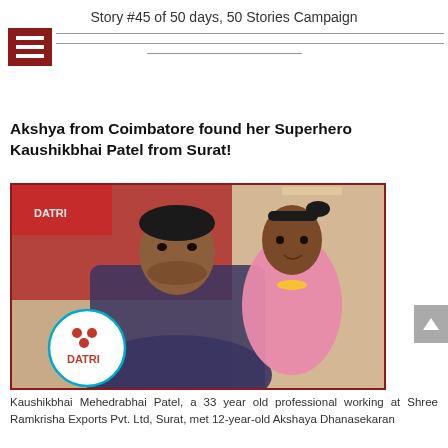Story #45 of 50 days, 50 Stories Campaign
Akshya from Coimbatore found her Superhero Kaushikbhai Patel from Surat!
[Figure (photo): Photo of Kaushikbhai Mehedrabhai Patel, a man, holding a young girl in a pink outfit, standing in front of a DATRI banner/backdrop.]
Kaushikbhai Mehedrabhai Patel, a 33 year old professional working at Shree Ramkrisha Exports Pvt. Ltd, Surat, met 12-year-old Akshaya Dhanasekaran